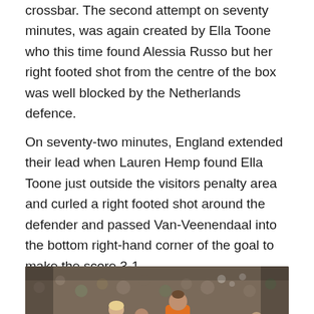crossbar. The second attempt on seventy minutes, was again created by Ella Toone who this time found Alessia Russo but her right footed shot from the centre of the box was well blocked by the Netherlands defence.
On seventy-two minutes, England extended their lead when Lauren Hemp found Ella Toone just outside the visitors penalty area and curled a right footed shot around the defender and passed Van-Veenendaal into the bottom right-hand corner of the goal to make the score 3-1.
[Figure (photo): Football match action photo showing a Netherlands player in orange kit kicking the ball, with an opponent wearing number 14 jersey nearby, in a stadium with a crowd in the background.]